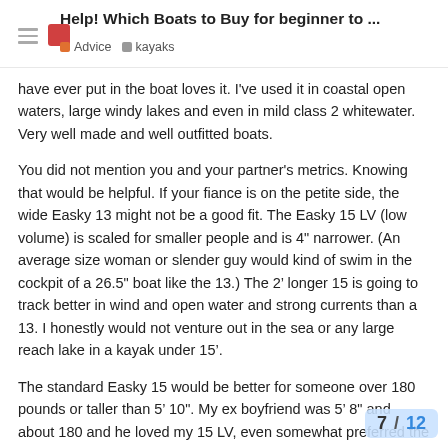Help! Which Boats to Buy for beginner to ...
have ever put in the boat loves it. I've used it in coastal open waters, large windy lakes and even in mild class 2 whitewater. Very well made and well outfitted boats.
You did not mention you and your partner's metrics. Knowing that would be helpful. If your fiance is on the petite side, the wide Easky 13 might not be a good fit. The Easky 15 LV (low volume) is scaled for smaller people and is 4" narrower. (An average size woman or slender guy would kind of swim in the cockpit of a 26.5" boat like the 13.) The 2’ longer 15 is going to track better in wind and open water and strong currents than a 13. I honestly would not venture out in the sea or any large reach lake in a kayak under 15’.
The standard Easky 15 would be better for someone over 180 pounds or taller than 5’ 10". My ex boyfriend was 5’ 8" and about 180 and he loved my 15 LV, even somewhat preferred the snugger fit to the regular Easky 15 he eventually bought.
It’s a shame Venture stopped selling the b